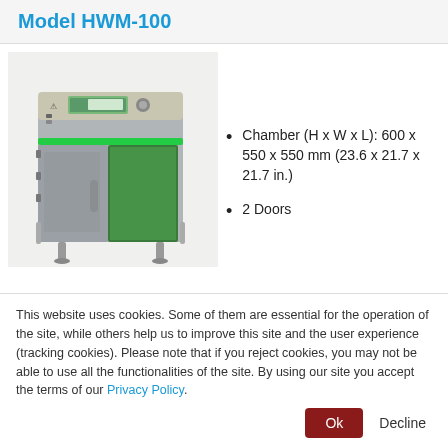Model HWM-100
[Figure (photo): Industrial oven/chamber unit Model HWM-100 with open door showing green interior light, control panel on top with display screen, mounted on metal legs]
Chamber (H x W x L): 600 x 550 x 550 mm (23.6 x 21.7 x 21.7 in.)
2 Doors
This website uses cookies. Some of them are essential for the operation of the site, while others help us to improve this site and the user experience (tracking cookies). Please note that if you reject cookies, you may not be able to use all the functionalities of the site. By using our site you accept the terms of our Privacy Policy.